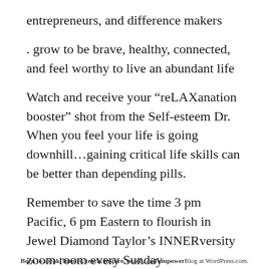entrepreneurs, and difference makers
. grow to be brave, healthy, connected, and feel worthy to live an abundant life
Watch and receive your “reLAXanation booster” shot from the Self-esteem Dr. When you feel your life is going downhill…gaining critical life skills can be better than depending pills.
Remember to save the time 3 pm Pacific, 6 pm Eastern to flourish in Jewel Diamond Taylor’s INNERversity zoom room every Sunday
Born to speak, inspire, teach, inspire, coach, and empower Blog at WordPress.com.